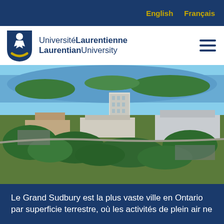English  Français
[Figure (logo): Laurentian University / Université Laurentienne shield logo with text]
[Figure (photo): Aerial photo of Laurentian University campus in Sudbury, Ontario, showing university buildings surrounded by trees with a lake in the background]
Le Grand Sudbury est la plus vaste ville en Ontario par superficie terrestre, où les activités de plein air ne...